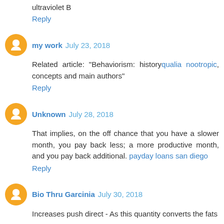ultraviolet B
Reply
my work  July 23, 2018
Related article: "Behaviorism: historyqualia nootropic, concepts and main authors"
Reply
Unknown  July 28, 2018
That implies, on the off chance that you have a slower month, you pay back less; a more productive month, and you pay back additional. payday loans san diego
Reply
Bio Thru Garcinia  July 30, 2018
Increases push direct - As this quantity converts the fats